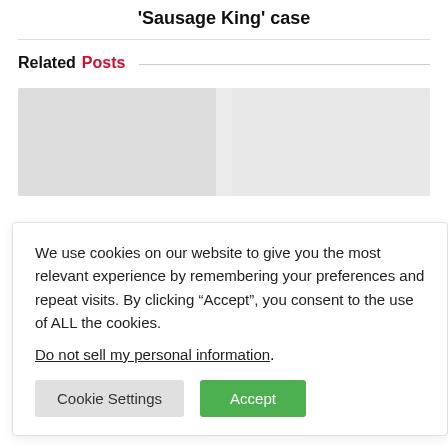'Sausage King' case
Related Posts
[Figure (photo): Placeholder image area for related posts thumbnail]
We use cookies on our website to give you the most relevant experience by remembering your preferences and repeat visits. By clicking “Accept”, you consent to the use of ALL the cookies.

Do not sell my personal information.
Cookie Settings | Accept